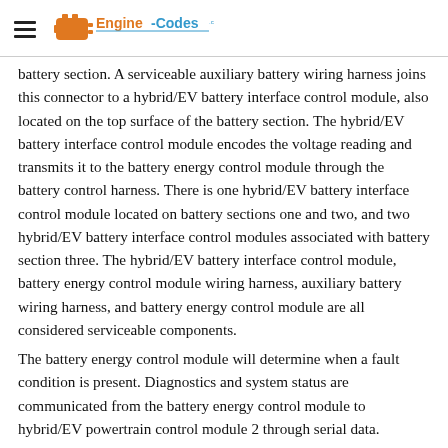Engine-Codes logo and navigation
battery section. A serviceable auxiliary battery wiring harness joins this connector to a hybrid/EV battery interface control module, also located on the top surface of the battery section. The hybrid/EV battery interface control module encodes the voltage reading and transmits it to the battery energy control module through the battery control harness. There is one hybrid/EV battery interface control module located on battery sections one and two, and two hybrid/EV battery interface control modules associated with battery section three. The hybrid/EV battery interface control module, battery energy control module wiring harness, auxiliary battery wiring harness, and battery energy control module are all considered serviceable components.
The battery energy control module will determine when a fault condition is present. Diagnostics and system status are communicated from the battery energy control module to hybrid/EV powertrain control module 2 through serial data.